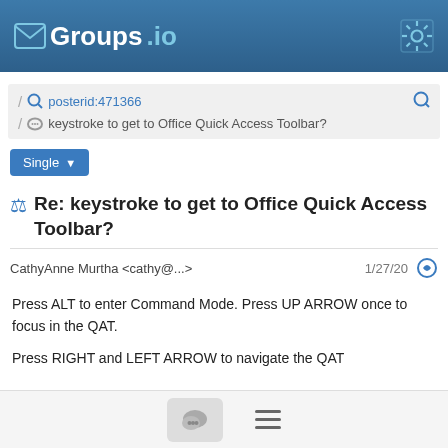Groups.io
posterid:471366
keystroke to get to Office Quick Access Toolbar?
Single
Re: keystroke to get to Office Quick Access Toolbar?
CathyAnne Murtha <cathy@...>   1/27/20
Press ALT to enter Command Mode. Press UP ARROW once to focus in the QAT.

Press RIGHT and LEFT ARROW to navigate the QAT